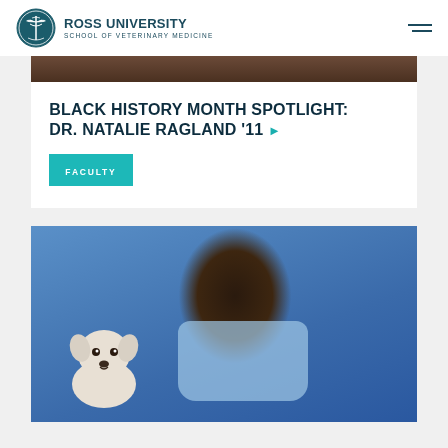ROSS UNIVERSITY SCHOOL OF VETERINARY MEDICINE
[Figure (photo): Partial photo at top of page, cropped person]
BLACK HISTORY MONTH SPOTLIGHT: DR. NATALIE RAGLAND ’11
FACULTY
[Figure (photo): Person wearing a light blue face mask holding a small white puppy, blue background]